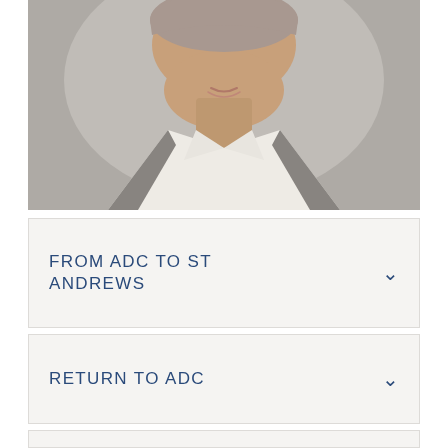[Figure (photo): Portrait photo of a woman with light hair pulled back, wearing a white collared shirt and gray vest, photographed from roughly chin to chest level against a neutral gray background]
FROM ADC TO ST ANDREWS
RETURN TO ADC